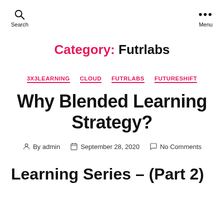Search  Menu
Category: Futrlabs
3X3LEARNING  CLOUD  FUTRLABS  FUTURESHIFT
Why Blended Learning Strategy?
By admin  September 28, 2020  No Comments
Learning Series – (Part 2)